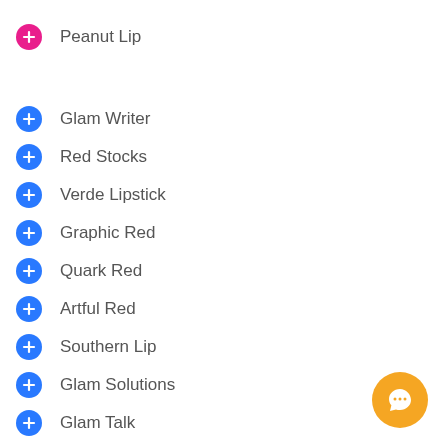Peanut Lip
Glam Writer
Red Stocks
Verde Lipstick
Graphic Red
Quark Red
Artful Red
Southern Lip
Glam Solutions
Glam Talk
Download Glam
Lipstick Concepts
RingLipStick
Covert Lip
Distortion Red